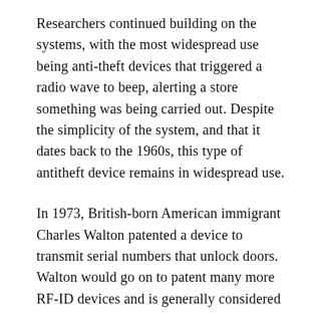Researchers continued building on the systems, with the most widespread use being anti-theft devices that triggered a radio wave to beep, alerting a store something was being carried out. Despite the simplicity of the system, and that it dates back to the 1960s, this type of antitheft device remains in widespread use.
In 1973, British-born American immigrant Charles Walton patented a device to transmit serial numbers that unlock doors. Walton would go on to patent many more RF-ID devices and is generally considered the innovator of modern RF-ID systems.